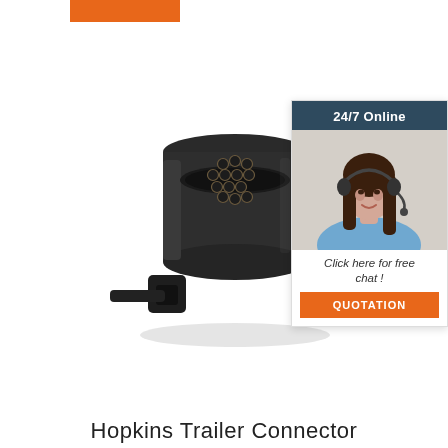[Figure (other): Orange banner/bar at top of page]
[Figure (photo): Black 13-pin trailer connector/socket adapter with multiple brass pins visible in the socket face, and a mounting bracket at the bottom]
[Figure (other): 24/7 Online chat widget with dark blue header reading '24/7 Online', photo of smiling woman with headset, text 'Click here for free chat !' and orange QUOTATION button]
Hopkins Trailer Connector